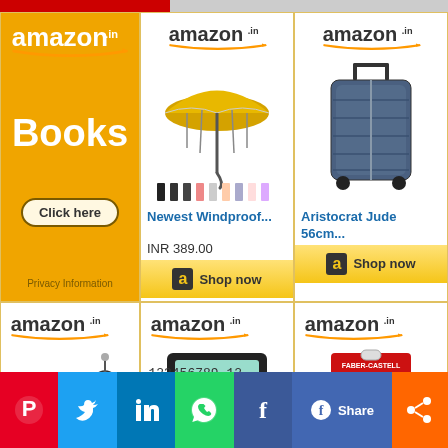[Figure (screenshot): Amazon.in Books advertisement with orange background and click here button]
[Figure (screenshot): Amazon.in product listing for Newest Windproof umbrella, INR 389.00, with Shop now button]
[Figure (screenshot): Amazon.in product listing for Aristocrat Jude 56cm luggage, with Shop now button]
[Figure (screenshot): Amazon.in product listing for Best gift mug/keychain]
[Figure (screenshot): Amazon.in product listing for Casio DJ-120D 150 Steps calculator]
[Figure (screenshot): Amazon.in product listing for Faber-Castell Gel Textliner]
[Figure (screenshot): Social sharing bar with Pinterest, Twitter, LinkedIn, WhatsApp, Facebook icons and Share button]